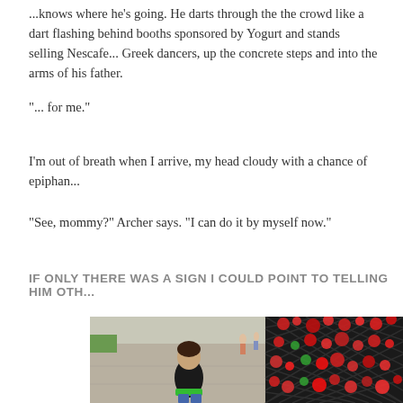...knows where he's going. He darts through the the crowd like a dart flashing behind booths sponsored by Yogurt and stands selling Nescafe... Greek dancers, up the concrete steps and into the arms of his father.
"... for me."
I'm out of breath when I arrive, my head cloudy with a chance of epiphan...
"See, mommy?" Archer says. "I can do it by myself now."
IF ONLY THERE WAS A SIGN I COULD POINT TO TELLING HIM OTH...
[Figure (photo): A young child in a black hoodie with green accent, standing on a sidewalk looking at a chain-link fence decorated with red flowers/locks.]